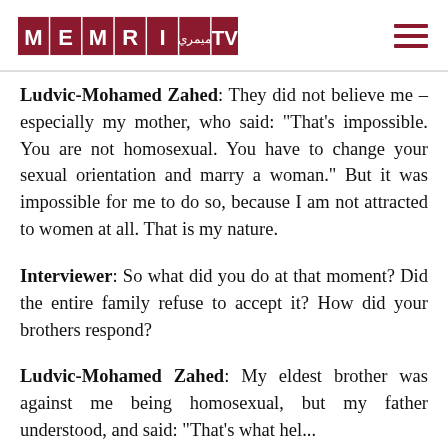MEMRI TV
Ludvic-Mohamed Zahed: They did not believe me – especially my mother, who said: "That's impossible. You are not homosexual. You have to change your sexual orientation and marry a woman." But it was impossible for me to do so, because I am not attracted to women at all. That is my nature.
Interviewer: So what did you do at that moment? Did the entire family refuse to accept it? How did your brothers respond?
Ludvic-Mohamed Zahed: My eldest brother was against me being homosexual, but my father understood, and said: "That's what hel...